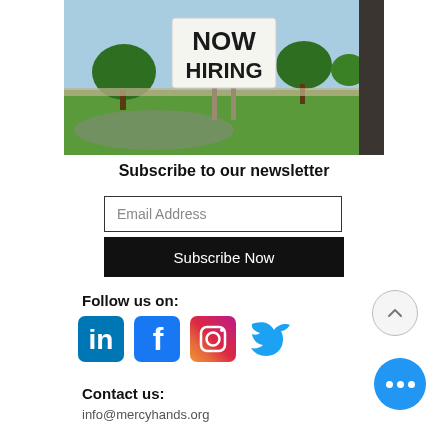[Figure (photo): Outdoor photo of a 'NOW HIRING' sign posted on a lawn with trees in the background]
Subscribe to our newsletter
Email Address
Subscribe Now
Follow us on:
[Figure (illustration): Social media icons: LinkedIn, Facebook, Instagram, Twitter]
Contact us:
info@mercyhands.org